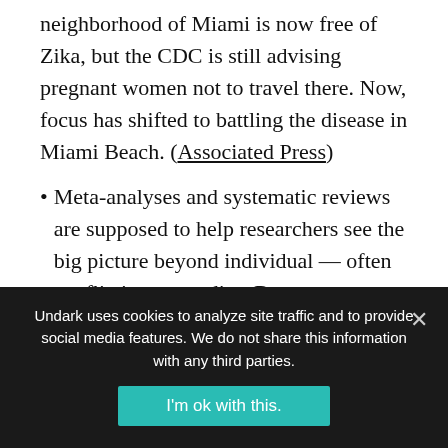neighborhood of Miami is now free of Zika, but the CDC is still advising pregnant women not to travel there. Now, focus has shifted to battling the disease in Miami Beach. (Associated Press)
Meta-analyses and systematic reviews are supposed to help researchers see the big picture beyond individual — often conflicting — studies. But a new paper suggests that even these larger studies are vulnerable to bias. (STAT)
Despite fears, a new study suggests that getting a
Undark uses cookies to analyze site traffic and to provide social media features. We do not share this information with any third parties.